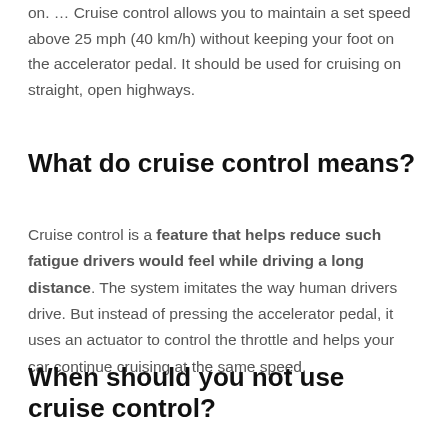on. … Cruise control allows you to maintain a set speed above 25 mph (40 km/h) without keeping your foot on the accelerator pedal. It should be used for cruising on straight, open highways.
What do cruise control means?
Cruise control is a feature that helps reduce such fatigue drivers would feel while driving a long distance. The system imitates the way human drivers drive. But instead of pressing the accelerator pedal, it uses an actuator to control the throttle and helps your car continue cruising at the same speed.
When should you not use cruise control?